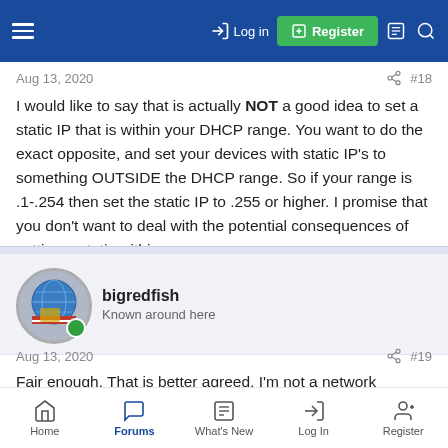Log in | Register
Aug 13, 2020  #18
I would like to say that is actually NOT a good idea to set a static IP that is within your DHCP range. You want to do the exact opposite, and set your devices with static IP's to something OUTSIDE the DHCP range. So if your range is .1-.254 then set the static IP to .255 or higher. I promise that you don't want to deal with the potential consequences of setting a static within range.
bigredfish
Known around here
Aug 13, 2020  #19
Fair enough. That is better agreed. I'm not a network engineer
Home | Forums | What's New | Log In | Register